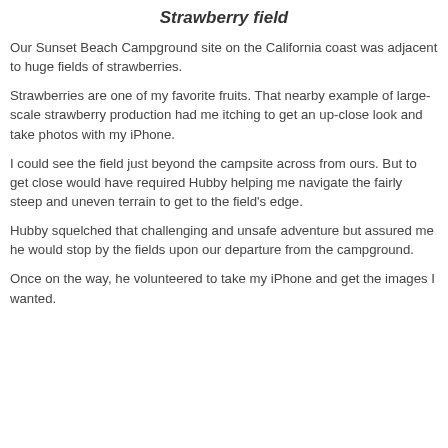Strawberry field
Our Sunset Beach Campground site on the California coast was adjacent to huge fields of strawberries.
Strawberries are one of my favorite fruits. That nearby example of large-scale strawberry production had me itching to get an up-close look and take photos with my iPhone.
I could see the field just beyond the campsite across from ours. But to get close would have required Hubby helping me navigate the fairly steep and uneven terrain to get to the field's edge.
Hubby squelched that challenging and unsafe adventure but assured me he would stop by the fields upon our departure from the campground.
Once on the way, he volunteered to take my iPhone and get the images I wanted.